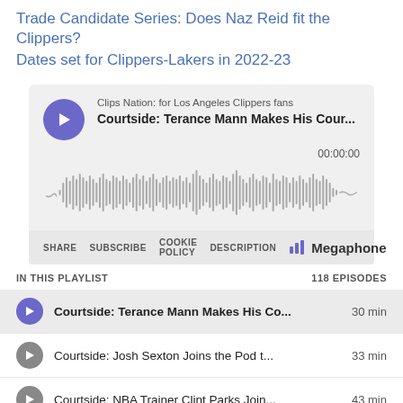Trade Candidate Series: Does Naz Reid fit the Clippers?
Dates set for Clippers-Lakers in 2022-23
[Figure (screenshot): Podcast player widget for 'Clips Nation: for Los Angeles Clippers fans' showing episode 'Courtside: Terance Mann Makes His Cour...' with waveform audio visualization, timestamp 00:00:00, share/subscribe/cookie policy/description controls, and Megaphone branding]
IN THIS PLAYLIST   118 EPISODES
Courtside: Terance Mann Makes His Co...  30 min
Courtside: Josh Sexton Joins the Pod t...  33 min
Courtside: NBA Trainer Clint Parks Join...  43 min